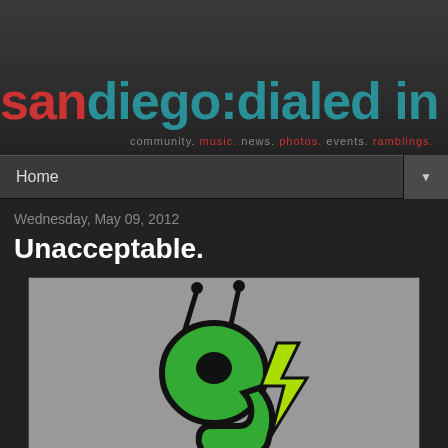san diego:dialed in — community. music. news. photos. events. ramblings.
Home
Wednesday, May 09, 2012
Unacceptable.
[Figure (illustration): Cartoon illustration of a green alien/robot character with antennae, resembling the number 9, with a yellow lightning bolt shape, on a grey background]